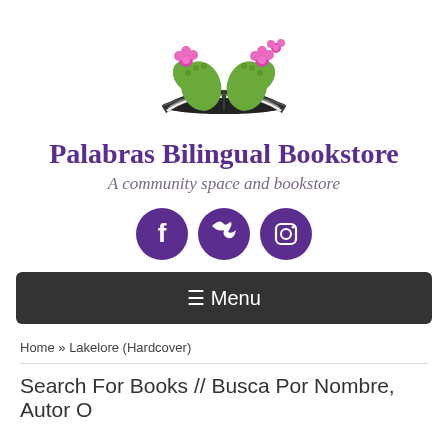[Figure (logo): Palabras Bilingual Bookstore logo: two cactus halves shaped like a heart growing out of an open book, with pink flowers on top]
Palabras Bilingual Bookstore
A community space and bookstore
[Figure (infographic): Three circular social media icons (Facebook, Twitter, Instagram) in dark purple]
≡ Menu
Home » Lakelore (Hardcover)
Search For Books // Busca Por Nombre, Autor O